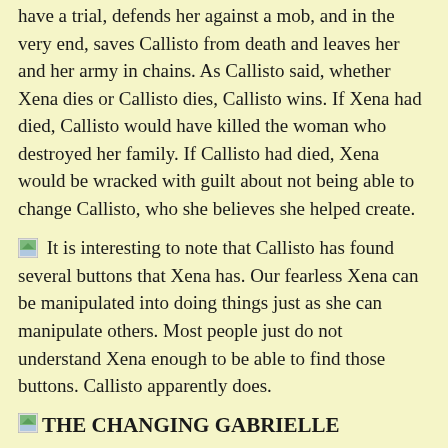have a trial, defends her against a mob, and in the very end, saves Callisto from death and leaves her and her army in chains. As Callisto said, whether Xena dies or Callisto dies, Callisto wins. If Xena had died, Callisto would have killed the woman who destroyed her family. If Callisto had died, Xena would be wracked with guilt about not being able to change Callisto, who she believes she helped create.
It is interesting to note that Callisto has found several buttons that Xena has. Our fearless Xena can be manipulated into doing things just as she can manipulate others. Most people just do not understand Xena enough to be able to find those buttons. Callisto apparently does.
THE CHANGING GABRIELLE
Gabrielle now plays back-up to Xena. Xena sends her off on her own to scout Callisto out when the Oracle has come. In the inn when